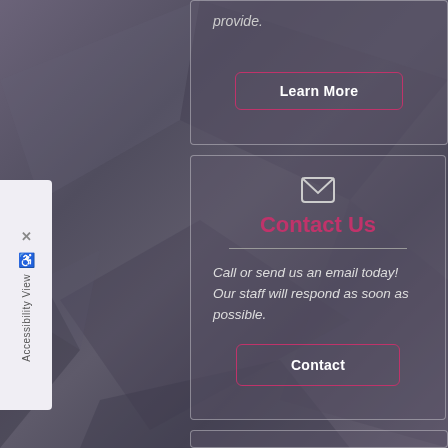provide.
Learn More
[Figure (other): Envelope/mail icon]
Contact Us
Call or send us an email today! Our staff will respond as soon as possible.
Contact